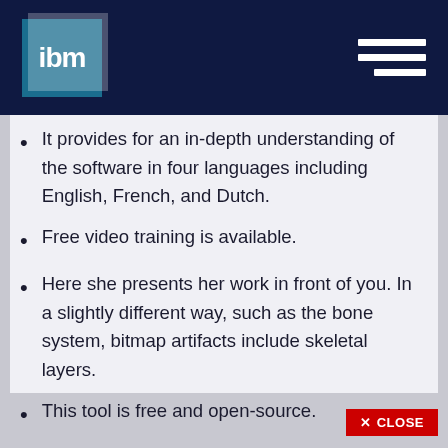ibm [logo with hamburger menu]
It provides for an in-depth understanding of the software in four languages including English, French, and Dutch.
Free video training is available.
Here she presents her work in front of you. In a slightly different way, such as the bone system, bitmap artifacts include skeletal layers.
This tool is free and open-source.